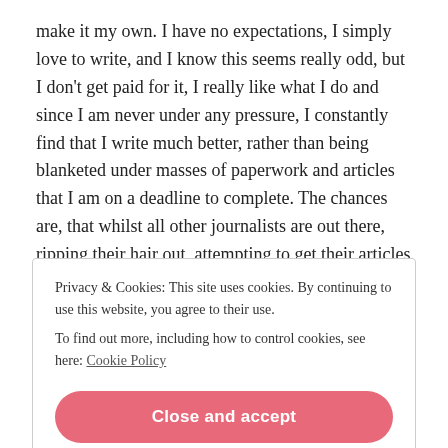make it my own. I have no expectations, I simply love to write, and I know this seems really odd, but I don't get paid for it, I really like what I do and since I am never under any pressure, I constantly find that I write much better, rather than being blanketed under masses of paperwork and articles that I am on a deadline to complete. The chances are, that whilst all other journalists are out there, ripping their hair out, attempting to get their articles completed, I'm simply rambling along at my convenience creating my perfect piece. I guess it must look pretty unpleasant to some of you that I work for nothing, perhaps even brutal. Perhaps I have an obvious disregard
Privacy & Cookies: This site uses cookies. By continuing to use this website, you agree to their use.
To find out more, including how to control cookies, see here: Cookie Policy
Close and accept
what I write about is the truth and getting it out there, because the